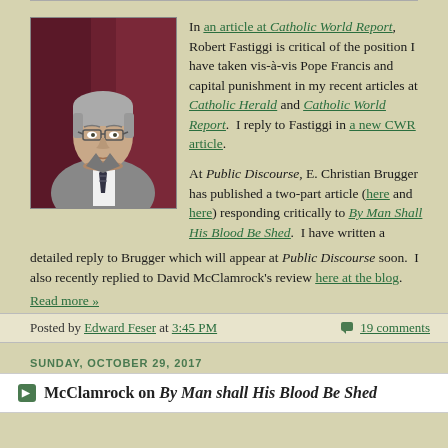[Figure (photo): Headshot photo of a middle-aged man with gray hair, glasses, wearing a gray suit and striped tie, against a dark red background]
In an article at Catholic World Report, Robert Fastiggi is critical of the position I have taken vis-à-vis Pope Francis and capital punishment in my recent articles at Catholic Herald and Catholic World Report. I reply to Fastiggi in a new CWR article.
At Public Discourse, E. Christian Brugger has published a two-part article (here and here) responding critically to By Man Shall His Blood Be Shed. I have written a detailed reply to Brugger which will appear at Public Discourse soon. I also recently replied to David McClamrock's review here at the blog.
Read more »
Posted by Edward Feser at 3:45 PM    19 comments
SUNDAY, OCTOBER 29, 2017
McClamrock on By Man shall His Blood Be Shed